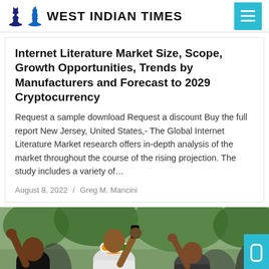West Indian Times
Internet Literature Market Size, Scope, Growth Opportunities, Trends by Manufacturers and Forecast to 2029 Cryptocurrency
Request a sample download Request a discount Buy the full report New Jersey, United States,- The Global Internet Literature Market research offers in-depth analysis of the market throughout the course of the rising projection. The study includes a variety of...
August 8, 2022 / Greg M. Mancini
[Figure (photo): Crowd of people with raised fists at an outdoor event, with trees visible in the background. A person in a white outfit wearing an orange and green turban is visible in the center.]